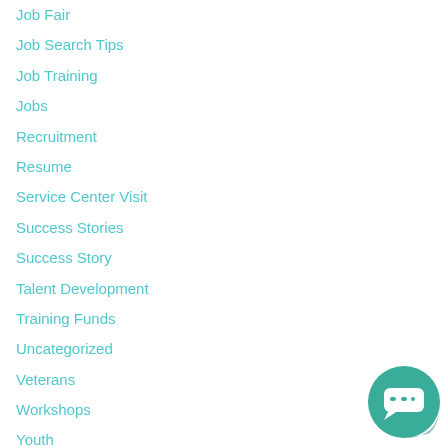Job Fair
Job Search Tips
Job Training
Jobs
Recruitment
Resume
Service Center Visit
Success Stories
Success Story
Talent Development
Training Funds
Uncategorized
Veterans
Workshops
Youth
Archives
February 2022
[Figure (other): Chat widget button — teal rounded square with white chat bubble icon]